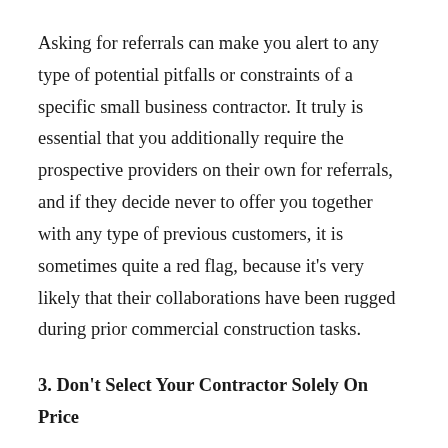Asking for referrals can make you alert to any type of potential pitfalls or constraints of a specific small business contractor. It truly is essential that you additionally require the prospective providers on their own for referrals, and if they decide never to offer you together with any type of previous customers, it is sometimes quite a red flag, because it’s very likely that their collaborations have been rugged during prior commercial construction tasks.
3. Don’t Select Your Contractor Solely On Price